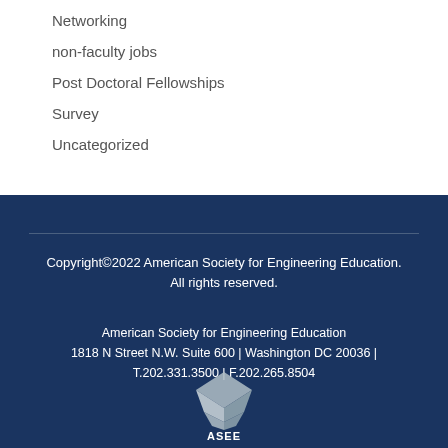Networking
non-faculty jobs
Post Doctoral Fellowships
Survey
Uncategorized
Copyright©2022 American Society for Engineering Education. All rights reserved.

American Society for Engineering Education
1818 N Street N.W. Suite 600 | Washington DC 20036 | T.202.331.3500 | F.202.265.8504